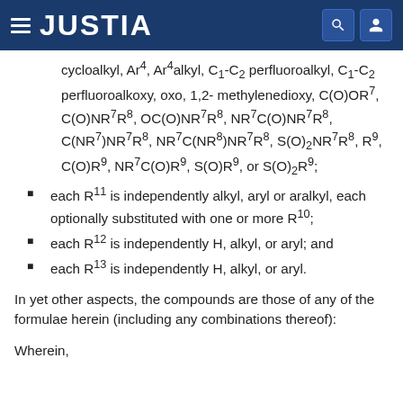JUSTIA
cycloalkyl, Ar4, Ar4alkyl, C1-C2 perfluoroalkyl, C1-C2 perfluoroalkoxy, oxo, 1,2-methylenedioxy, C(O)OR7, C(O)NR7R8, OC(O)NR7R8, NR7C(O)NR7R8, C(NR7)NR7R8, NR7C(NR8)NR7R8, S(O)2NR7R8, R9, C(O)R9, NR7C(O)R9, S(O)R9, or S(O)2R9;
each R11 is independently alkyl, aryl or aralkyl, each optionally substituted with one or more R10;
each R12 is independently H, alkyl, or aryl; and
each R13 is independently H, alkyl, or aryl.
In yet other aspects, the compounds are those of any of the formulae herein (including any combinations thereof):
Wherein,